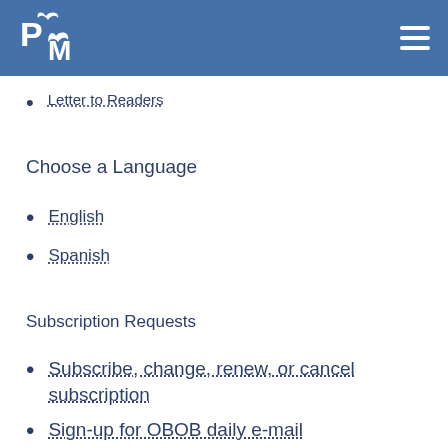[Figure (logo): PM logo with bird and leaf on blue background header, with hamburger menu icon on right]
Letter to Readers
Choose a Language
English
Spanish
Subscription Requests
Subscribe, change, renew, or cancel subscription
Sign-up for OBOB daily e-mail